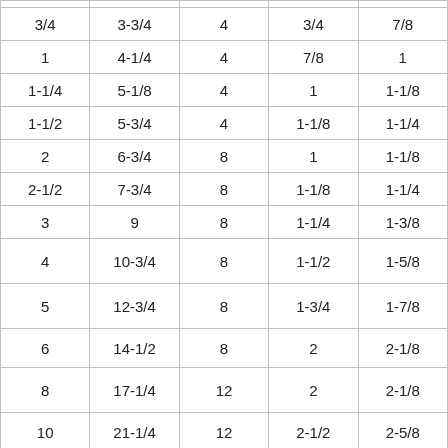| 3/4 | 3-3/4 | 4 | 3/4 | 7/8 |
| 1 | 4-1/4 | 4 | 7/8 | 1 |
| 1-1/4 | 5-1/8 | 4 | 1 | 1-1/8 |
| 1-1/2 | 5-3/4 | 4 | 1-1/8 | 1-1/4 |
| 2 | 6-3/4 | 8 | 1 | 1-1/8 |
| 2-1/2 | 7-3/4 | 8 | 1-1/8 | 1-1/4 |
| 3 | 9 | 8 | 1-1/4 | 1-3/8 |
| 4 | 10-3/4 | 8 | 1-1/2 | 1-5/8 |
| 5 | 12-3/4 | 8 | 1-3/4 | 1-7/8 |
| 6 | 14-1/2 | 8 | 2 | 2-1/8 |
| 8 | 17-1/4 | 12 | 2 | 2-1/8 |
| 10 | 21-1/4 | 12 | 2-1/2 | 2-5/8 |
| 12 | 24-3/8 | 12 | 2-3/4 | 2-7/8 |